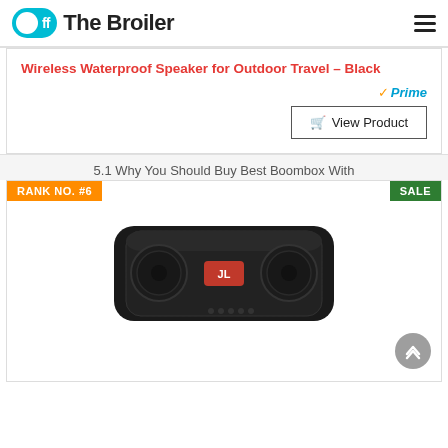Off The Broiler
Wireless Waterproof Speaker for Outdoor Travel - Black
[Figure (infographic): Amazon Prime badge with orange checkmark and blue italic Prime text]
[Figure (screenshot): View Product button with shopping cart icon]
5.1 Why You Should Buy Best Boombox With
RANK NO. #6
SALE
[Figure (photo): JBL Charge 4 portable bluetooth speaker in black color, viewed from front angle]